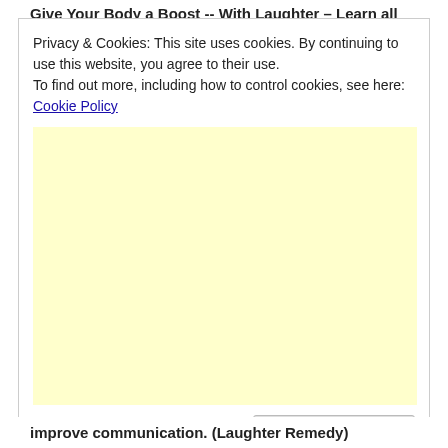Give Your Body a Boost -- With Laughter – Learn all
Privacy & Cookies: This site uses cookies. By continuing to use this website, you agree to their use.
To find out more, including how to control cookies, see here: Cookie Policy
[Figure (other): Large yellow advertisement placeholder block]
Close and accept
improve communication. (Laughter Remedy)